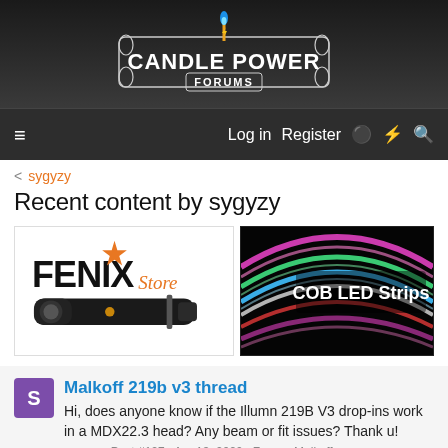[Figure (logo): CandlePower Forums logo with torch/candle icon on dark background]
Log in   Register
< sygyzy
Recent content by sygyzy
[Figure (photo): Fenix Store advertisement showing flashlight and Fenix Store logo]
[Figure (photo): COB LED Strips advertisement showing colorful glowing LED strips]
Malkoff 219b v3 thread
Hi, does anyone know if the Illumn 219B V3 drop-ins work in a MDX22.3 head? Any beam or fit issues? Thank u!
sygyzy · Post #127 · Apr 13, 2020 · Forum: Malkoff